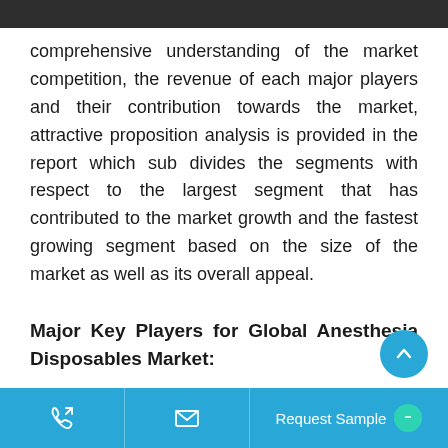comprehensive understanding of the market competition, the revenue of each major players and their contribution towards the market, attractive proposition analysis is provided in the report which sub divides the segments with respect to the largest segment that has contributed to the market growth and the fastest growing segment based on the size of the market as well as its overall appeal.
Major Key Players for Global Anesthesia Disposables Market:
Request Sample